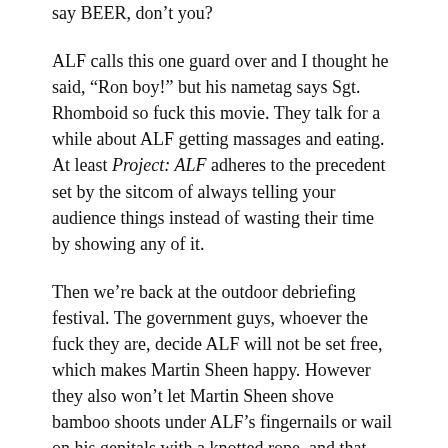say BEER, don't you?
ALF calls this one guard over and I thought he said, “Ron boy!” but his nametag says Sgt. Rhomboid so fuck this movie. They talk for a while about ALF getting massages and eating. At least Project: ALF adheres to the precedent set by the sitcom of always telling your audience things instead of wasting their time by showing any of it.
Then we’re back at the outdoor debriefing festival. The government guys, whoever the fuck they are, decide ALF will not be set free, which makes Martin Sheen happy. However they also won’t let Martin Sheen shove bamboo shoots under ALF’s fingernails or wail on his genitals with a knotted rope, and that makes him so sad we need to cut to him in his office, standing plaintively out a window.